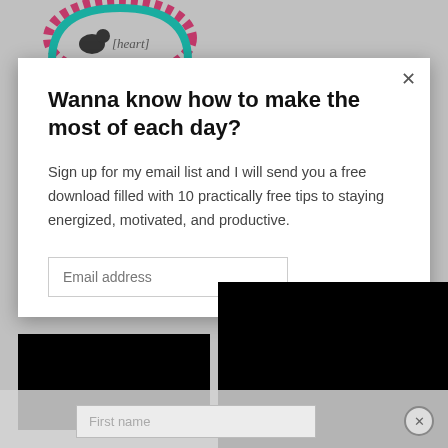[Figure (logo): Circular logo with teal arch and decorative pink border at top of page]
Wanna know how to make the most of each day?
Sign up for my email list and I will send you a free download filled with 10 practically free tips to staying energized, motivated, and productive.
Email address
[Figure (other): Black redacted/censored blocks covering right side and lower left of modal]